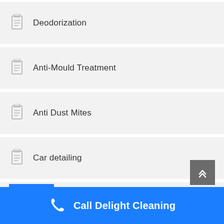Deodorization
Anti-Mould Treatment
Anti Dust Mites
Car detailing
View All Services
MATTRESS STEAM CLEANING
Call Delight Cleaning